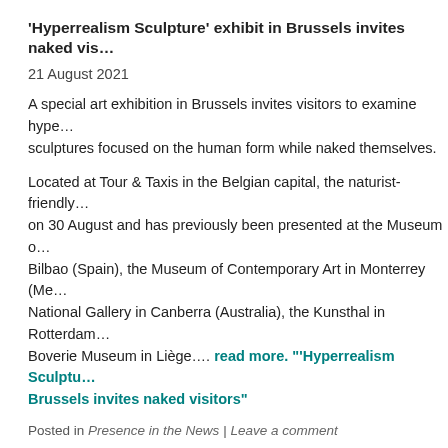'Hyperrealism Sculpture' exhibit in Brussels invites naked vis…
21 August 2021
A special art exhibition in Brussels invites visitors to examine hype… sculptures focused on the human form while naked themselves.
Located at Tour & Taxis in the Belgian capital, the naturist-friendly… on 30 August and has previously been presented at the Museum o… Bilbao (Spain), the Museum of Contemporary Art in Monterrey (Me… National Gallery in Canberra (Australia), the Kunsthal in Rotterdam… Boverie Museum in Liège…. read more. "'Hyperrealism Sculptu… Brussels invites naked visitors"
Posted in Presence in the News | Leave a comment
Call: Gendering Robots: Ongoing (Re)Configurations of Gender in Robo… IJSR special issue